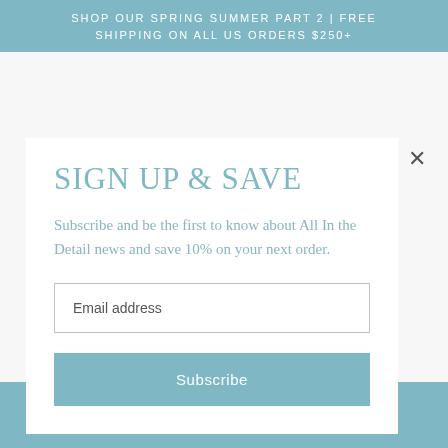SHOP OUR SPRING SUMMER PART 2 | FREE SHIPPING ON ALL US ORDERS $250+
SIGN UP & SAVE
Subscribe and be the first to know about All In the Detail news and save 10% on your next order.
Email address
Subscribe
MENU